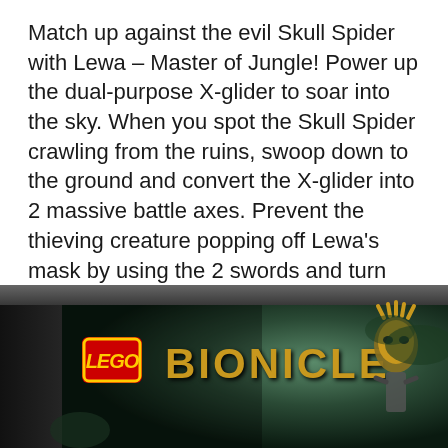Match up against the evil Skull Spider with Lewa – Master of Jungle! Power up the dual-purpose X-glider to soar into the sky. When you spot the Skull Spider crawling from the ruins, swoop down to the ground and convert the X-glider into 2 massive battle axes. Prevent the thieving creature popping off Lewa's mask by using the 2 swords and turn the wheel to power up Lewa's bashing battle arm. You must fight hard to protect the precious Golden Jungle Mask against the forces of evil.
[Figure (photo): LEGO Bionicle product box shown at an angle, featuring the LEGO logo in red with yellow border, BIONICLE text in gold lettering, and a mask/figure graphic on the right side, set against a dark jungle background.]